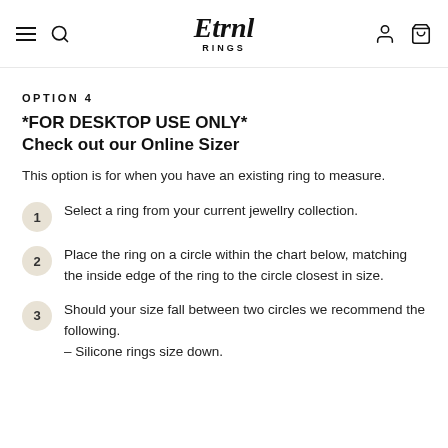Etrnl RINGS
OPTION 4
*FOR DESKTOP USE ONLY* Check out our Online Sizer
This option is for when you have an existing ring to measure.
1. Select a ring from your current jewellry collection.
2. Place the ring on a circle within the chart below, matching the inside edge of the ring to the circle closest in size.
3. Should your size fall between two circles we recommend the following.
– Silicone rings size down.